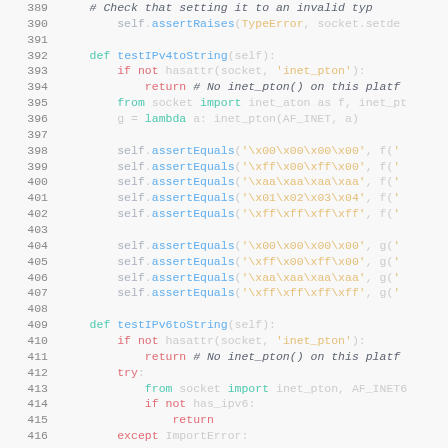[Figure (screenshot): Python source code snippet showing test methods testIPv4toString and testIPv6toString with syntax highlighting, lines 389-418]